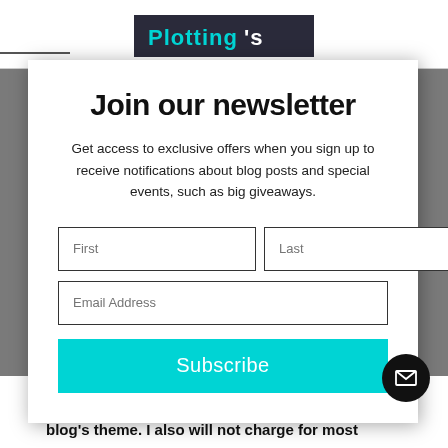[Figure (logo): Blog header logo with stylized text on dark background]
Join our newsletter
Get access to exclusive offers when you sign up to receive notifications about blog posts and special events, such as big giveaways.
First | Last (form fields)
Email Address (form field)
Subscribe (button)
guest artists, as long as you adhere to the blog's theme. I also will not charge for most